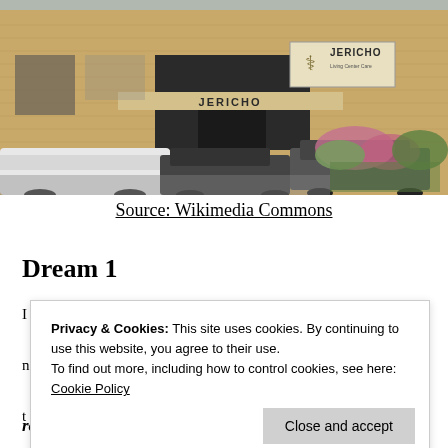[Figure (photo): Photograph of a building with a sign reading JERICHO on the facade, with cars parked in front and shrubs/plants to the right. Brick/tan-colored building exterior.]
Source: Wikimedia Commons
Dream 1
Privacy & Cookies: This site uses cookies. By continuing to use this website, you agree to their use.
To find out more, including how to control cookies, see here: Cookie Policy
road/highway not far from a main highway that